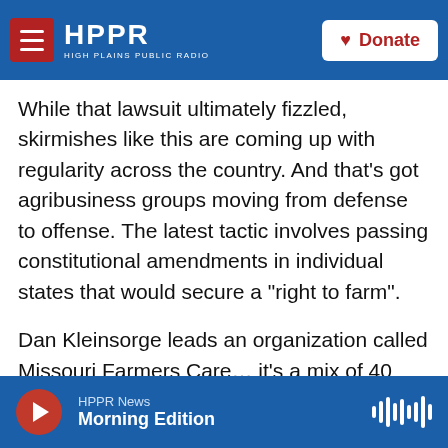HPPR HIGH PLAINS PUBLIC RADIO | Donate
While that lawsuit ultimately fizzled, skirmishes like this are coming up with regularity across the country. And that’s got agribusiness groups moving from defense to offense. The latest tactic involves passing constitutional amendments in individual states that would secure a “right to farm”.
Dan Kleinsorge leads an organization called Missouri Farmers Care… it’s a mix of 40 groups including the Farm Bureau and Monsanto. They’ve successfully lobbied to get state lawmakers in Missouri to put an amendment on the ballot in 2014. Kleinsorge notes, “The highest law in the
HPPR News | Morning Edition